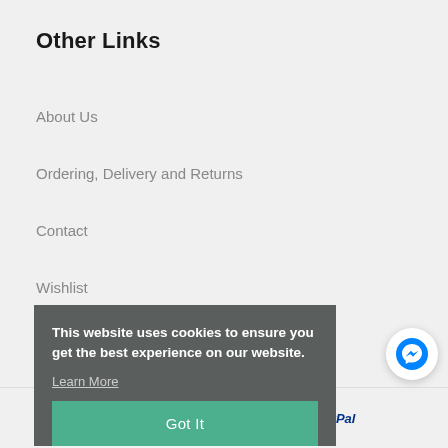Other Links
About Us
Ordering, Delivery and Returns
Contact
Wishlist
FAQs
Cookie Policy
This website uses cookies to ensure you get the best experience on our website.
Learn More
Got It
G Pay VISA Apple Pay Mastercard P PayPal